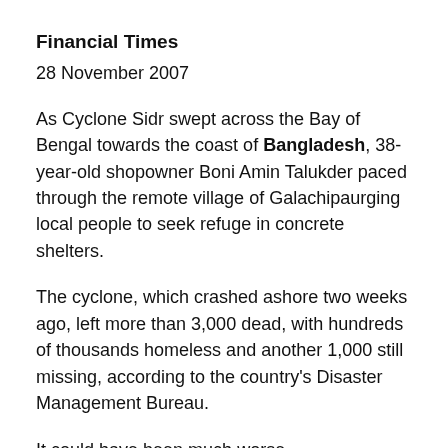Financial Times
28 November 2007
As Cyclone Sidr swept across the Bay of Bengal towards the coast of Bangladesh, 38-year-old shopowner Boni Amin Talukder paced through the remote village of Galachipaurging local people to seek refuge in concrete shelters.
The cyclone, which crashed ashore two weeks ago, left more than 3,000 dead, with hundreds of thousands homeless and another 1,000 still missing, according to the country's Disaster Management Bureau.
It could have been much worse – nearly139,000 died after a cyclone of similar strength hit the country in 1991. One reason for the lower toll is that Cyclone Sidr hit the